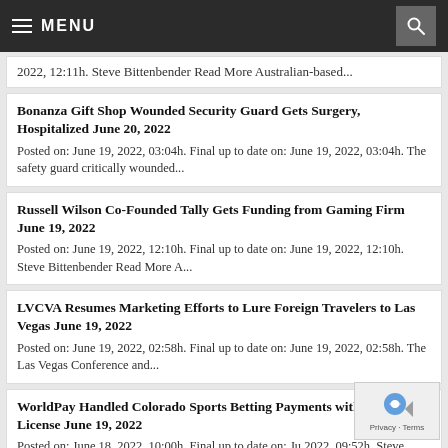MENU
2022, 12:11h. Steve Bittenbender Read More Australian-based...
Bonanza Gift Shop Wounded Security Guard Gets Surgery, Hospitalized June 20, 2022
Posted on: June 19, 2022, 03:04h.  Final up to date on: June 19, 2022, 03:04h. The safety guard critically wounded...
Russell Wilson Co-Founded Tally Gets Funding from Gaming Firm June 19, 2022
Posted on: June 19, 2022, 12:10h.  Final up to date on: June 19, 2022, 12:10h. Steve Bittenbender Read More A...
LVCVA Resumes Marketing Efforts to Lure Foreign Travelers to Las Vegas June 19, 2022
Posted on: June 19, 2022, 02:58h.  Final up to date on: June 19, 2022, 02:58h. The Las Vegas Conference and...
WorldPay Handled Colorado Sports Betting Payments with Lapsed License June 19, 2022
Posted on: June 18, 2022, 10:00h.  Final up to date on: June 2022, 09:52h. Steve Bittenbender Read More A...